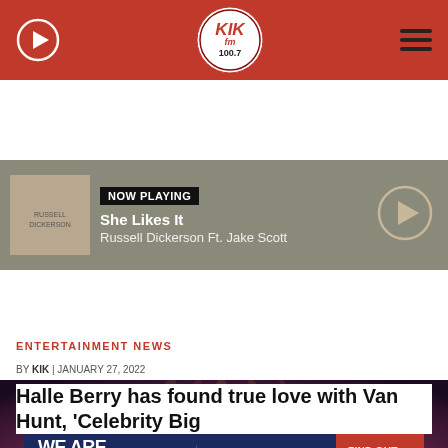KIK fm 100.7
NOW PLAYING | She Likes It | Russell Dickerson Ft. Jake Scott
[Figure (screenshot): Advertisement banner: WE ARE HIRING - ELLINGSON Plumbing, Heating, AC & Electrical - FIND OUT MORE]
ENTERTAINMENT NEWS
BY KIK | JANUARY 27, 2022
Halle Berry has found true love with Van Hunt, 'Celebrity Big